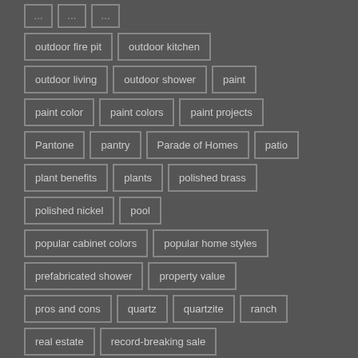outdoor fire pit
outdoor kitchen
outdoor living
outdoor shower
paint
paint color
paint colors
paint projects
Pantone
pantry
Parade of Homes
patio
plant benefits
plants
polished brass
polished nickel
pool
popular cabinet colors
popular home styles
prefabricated shower
property value
pros and cons
quartz
quartzite
ranch
real estate
record-breaking sale
refresh your home
repurpose closet